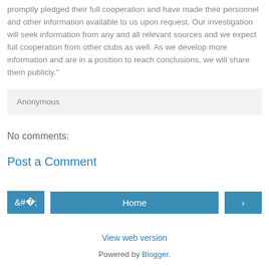promptly pledged their full cooperation and have made their personnel and other information available to us upon request. Our investigation will seek information from any and all relevant sources and we expect full cooperation from other clubs as well. As we develop more information and are in a position to reach conclusions, we will share them publicly."
Anonymous
No comments:
Post a Comment
Home
View web version
Powered by Blogger.